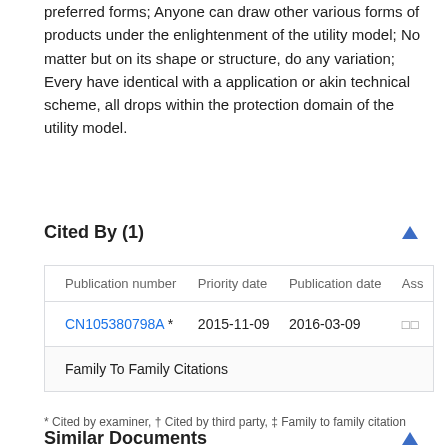preferred forms; Anyone can draw other various forms of products under the enlightenment of the utility model; No matter but on its shape or structure, do any variation; Every have identical with a application or akin technical scheme, all drops within the protection domain of the utility model.
Cited By (1)
| Publication number | Priority date | Publication date | Ass |
| --- | --- | --- | --- |
| CN105380798A * | 2015-11-09 | 2016-03-09 | □□ |
| Family To Family Citations |  |  |  |
* Cited by examiner, † Cited by third party, ‡ Family to family citation
Similar Documents